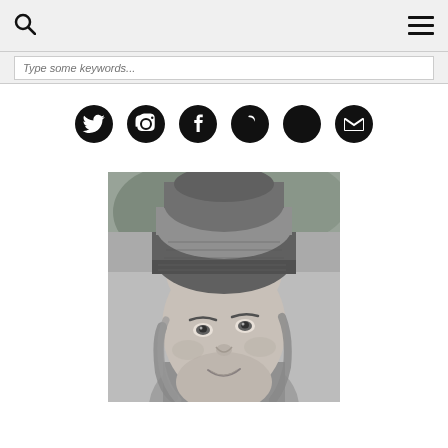Search bar with navigation icons
[Figure (other): Social media icons row: Twitter, Instagram, Facebook, Pinterest, YouTube, Email]
[Figure (photo): Black and white portrait photo of a young woman wearing a knitted beanie hat, outdoors with blurred foliage background, smiling slightly]